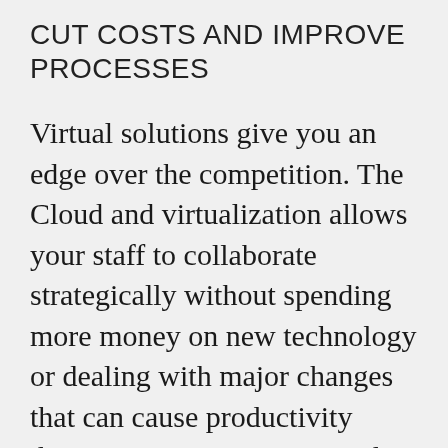CUT COSTS AND IMPROVE PROCESSES
Virtual solutions give you an edge over the competition. The Cloud and virtualization allows your staff to collaborate strategically without spending more money on new technology or dealing with major changes that can cause productivity disruptions. 24/7 support and reliable cloud hosting and virtual desktop technology is a